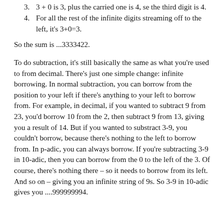3. 3 + 0 is 3, plus the carried one is 4, se the third digit is 4.
4. For all the rest of the infinite digits streaming off to the left, it's 3+0=3.
So the sum is ...3333422.
To do subtraction, it's still basically the same as what you're used to from decimal. There's just one simple change: infinite borrowing. In normal subtraction, you can borrow from the position to your left if there's anything to your left to borrow from. For example, in decimal, if you wanted to subtract 9 from 23, you'd borrow 10 from the 2, then subtract 9 from 13, giving you a result of 14. But if you wanted to substract 3-9, you couldn't borrow, because there's nothing to the left to borrow from. In p-adic, you can always borrow. If you're subtracting 3-9 in 10-adic, then you can borrow from the 0 to the left of the 3. Of course, there's nothing there – so it needs to borrow from its left. And so on – giving you an infinite string of 9s. So 3-9 in 10-adic gives you ....999999994.